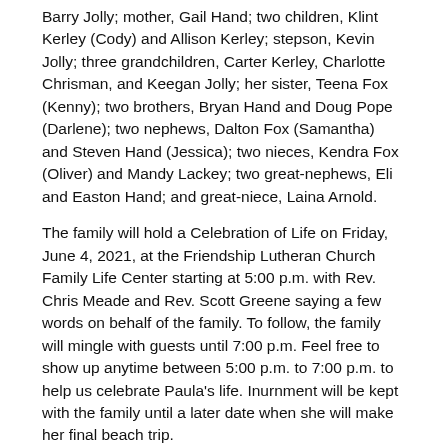Barry Jolly; mother, Gail Hand; two children, Klint Kerley (Cody) and Allison Kerley; stepson, Kevin Jolly; three grandchildren, Carter Kerley, Charlotte Chrisman, and Keegan Jolly; her sister, Teena Fox (Kenny); two brothers, Bryan Hand and Doug Pope (Darlene); two nephews, Dalton Fox (Samantha) and Steven Hand (Jessica); two nieces, Kendra Fox (Oliver) and Mandy Lackey; two great-nephews, Eli and Easton Hand; and great-niece, Laina Arnold.
The family will hold a Celebration of Life on Friday, June 4, 2021, at the Friendship Lutheran Church Family Life Center starting at 5:00 p.m. with Rev. Chris Meade and Rev. Scott Greene saying a few words on behalf of the family. To follow, the family will mingle with guests until 7:00 p.m. Feel free to show up anytime between 5:00 p.m. to 7:00 p.m. to help us celebrate Paula's life. Inurnment will be kept with the family until a later date when she will make her final beach trip.
In lieu of flowers, all donations should be made to Taylor King Furniture, 286 County Home Rd, Taylorsville, NC 28681, in care of a college fund to be started, in honor of her, for her two grandchildren whom she loved immensely.